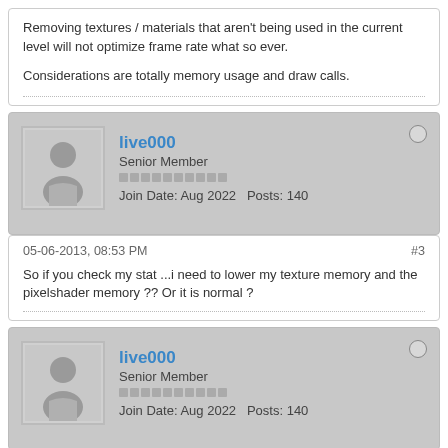Removing textures / materials that aren't being used in the current level will not optimize frame rate what so ever.
Considerations are totally memory usage and draw calls.
live000
Senior Member
Join Date: Aug 2022   Posts: 140
05-06-2013, 08:53 PM
#3
So if you check my stat ...i need to lower my texture memory and the pixelshader memory ?? Or it is normal ?
live000
Senior Member
Join Date: Aug 2022   Posts: 140